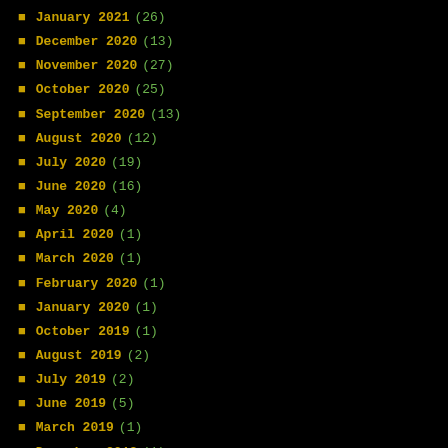January 2021 (26)
December 2020 (13)
November 2020 (27)
October 2020 (25)
September 2020 (13)
August 2020 (12)
July 2020 (19)
June 2020 (16)
May 2020 (4)
April 2020 (1)
March 2020 (1)
February 2020 (1)
January 2020 (1)
October 2019 (1)
August 2019 (2)
July 2019 (2)
June 2019 (5)
March 2019 (1)
December 2018 (1)
September 2018 (1)
August 2018 (3)
July 2018 (5)